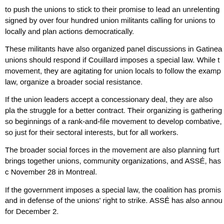to push the unions to stick to their promise to lead an unrelenting signed by over four hundred union militants calling for unions to locally and plan actions democratically.
These militants have also organized panel discussions in Gatinea unions should respond if Couillard imposes a special law. While t movement, they are agitating for union locals to follow the examp law, organize a broader social resistance.
If the union leaders accept a concessionary deal, they are also pla the struggle for a better contract. Their organizing is gathering so beginnings of a rank-and-file movement to develop combative, so just for their sectoral interests, but for all workers.
The broader social forces in the movement are also planning furt brings together unions, community organizations, and ASSÉ, has c November 28 in Montreal.
If the government imposes a special law, the coalition has promis and in defense of the unions' right to strike. ASSÉ has also annou for December 2.
If Couillard tries to impose a contract defending it with a law ban opposition parties to the test. The PQ certainly has proven that it